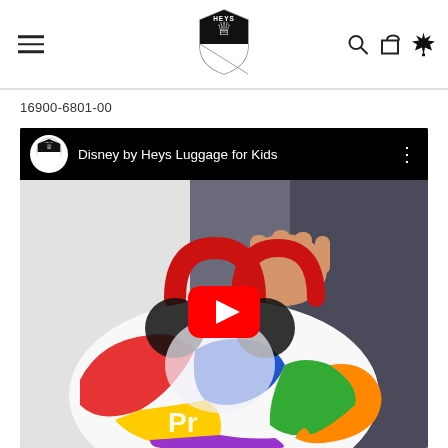Heys Canada website header with hamburger menu, Heys shield logo, search icon, cart icon, and maple leaf icon
16900-6801-00
[Figure (screenshot): YouTube video thumbnail for 'Disney by Heys Luggage for Kids' showing a person holding a colorful Disney-themed kids luggage bag with a red handle and Mickey Mouse pattern, with a YouTube play button overlay]